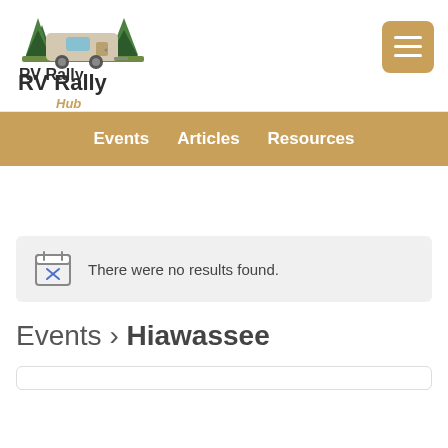RV Rally Hub
Events   Articles   Resources
There were no results found.
Events › Hiawassee